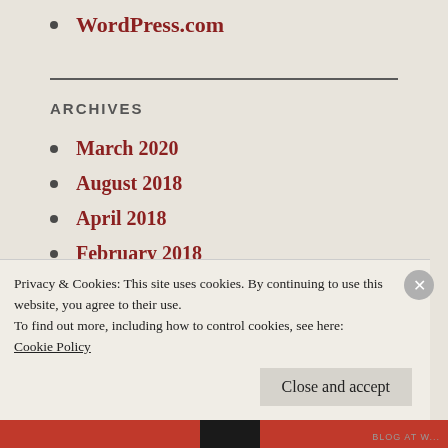WordPress.com
ARCHIVES
March 2020
August 2018
April 2018
February 2018
January 2018
Privacy & Cookies: This site uses cookies. By continuing to use this website, you agree to their use.
To find out more, including how to control cookies, see here:
Cookie Policy
Close and accept